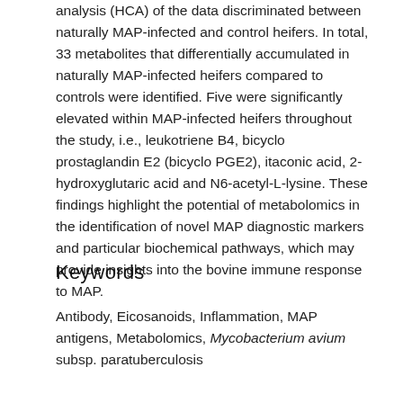analysis (HCA) of the data discriminated between naturally MAP-infected and control heifers. In total, 33 metabolites that differentially accumulated in naturally MAP-infected heifers compared to controls were identified. Five were significantly elevated within MAP-infected heifers throughout the study, i.e., leukotriene B4, bicyclo prostaglandin E2 (bicyclo PGE2), itaconic acid, 2-hydroxyglutaric acid and N6-acetyl-L-lysine. These findings highlight the potential of metabolomics in the identification of novel MAP diagnostic markers and particular biochemical pathways, which may provide insights into the bovine immune response to MAP.
Keywords
Antibody, Eicosanoids, Inflammation, MAP antigens, Metabolomics, Mycobacterium avium subsp. paratuberculosis